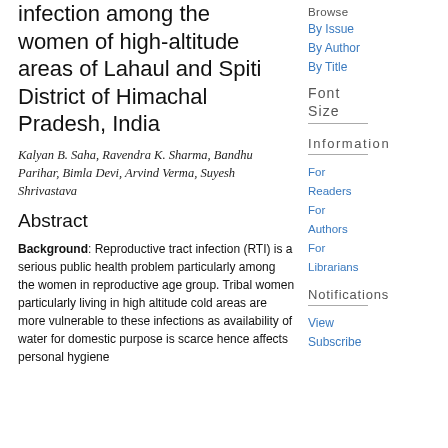infection among the women of high-altitude areas of Lahaul and Spiti District of Himachal Pradesh, India
Kalyan B. Saha, Ravendra K. Sharma, Bandhu Parihar, Bimla Devi, Arvind Verma, Suyesh Shrivastava
Abstract
Background: Reproductive tract infection (RTI) is a serious public health problem particularly among the women in reproductive age group. Tribal women particularly living in high altitude cold areas are more vulnerable to these infections as availability of water for domestic purpose is scarce hence affects personal hygiene
Browse
By Issue
By Author
By Title
Font Size
Information
For Readers
For Authors
For Librarians
Notifications
View
Subscribe